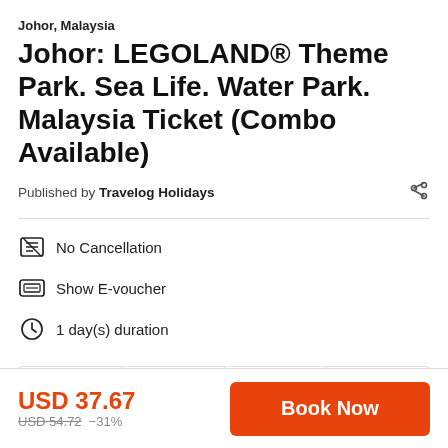Johor, Malaysia
Johor: LEGOLAND® Theme Park. Sea Life. Water Park. Malaysia Ticket (Combo Available)
Published by Travelog Holidays
No Cancellation
Show E-voucher
1 day(s) duration
Details | Inclusion | How to Use | Reviews
USD 37.67  USD 54.72  -31%  Book Now